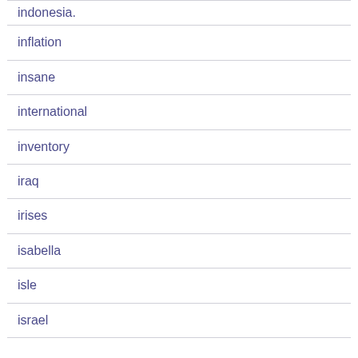inflation
insane
international
inventory
iraq
irises
isabella
isle
israel